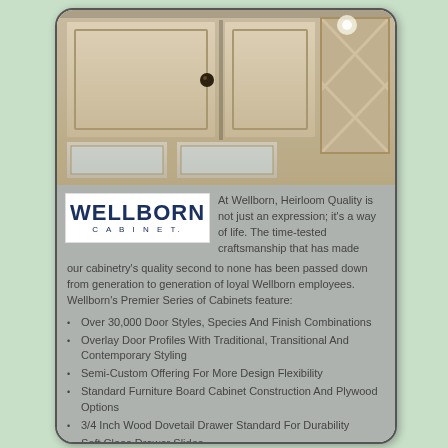[Figure (photo): Photo of cream/white kitchen cabinets with decorative hardware and lattice glass panel detail]
[Figure (logo): Wellborn Cabinet logo — bold dark blue WELLBORN text with CABINET in smaller spaced letters below]
At Wellborn, Heirloom Quality is not just an expression; it's a way of life. The time-tested craftsmanship that has made our cabinetry's quality second to none has been passed down from generation to generation of loyal Wellborn employees. Wellborn's Premier Series of Cabinets feature:
Over 30,000 Door Styles, Species And Finish Combinations
Overlay Door Profiles With Traditional, Transitional And Contemporary Styling
Semi-Custom Offering For More Design Flexibility
Standard Furniture Board Cabinet Construction And Plywood Options
3/4 Inch Wood Dovetail Drawer Standard For Durability
Soft Close Drawer Slides
Lifetime Limited Warranty